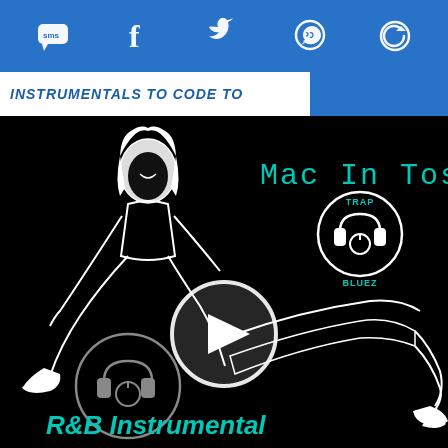[Figure (other): Blue header bar with social media icons: SMS, Facebook, Twitter, WhatsApp, and a circular arrow/refresh icon, all in white on blue background]
INSTRUMENTALS TO CODE TO
[Figure (illustration): Album art for 'Mac In Tosh' R&B Instrumental by Trap Bluez. Black background with white line-drawn figures of two people, a large play button circle in the center, teal text 'Mac In Tosh' top right, Trap Bluez logo (headphones in circle) top right, another Trap Bluez logo bottom left, and teal italic text 'R&B Instrumental' at the bottom left.]